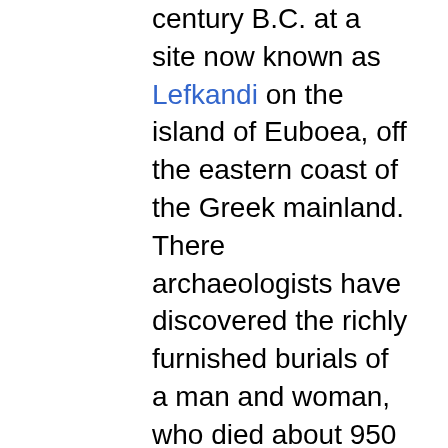century B.C. at a site now known as Lefkandi on the island of Euboea, off the eastern coast of the Greek mainland. There archaeologists have discovered the richly furnished burials of a man and woman, who died about 950 B.C. Their riches included goods of Near Eastern manufacture and style, testifying to the ongoing contacts between Greece and the Near East in the Dark Age. These contacts deeply influenced Greek mythology and religion as well as commerce. The dead woman wore elaborate gold ornaments that testify to her exceptional wealth. The couple were buried under a building more than 150 feet long with wooden columns on